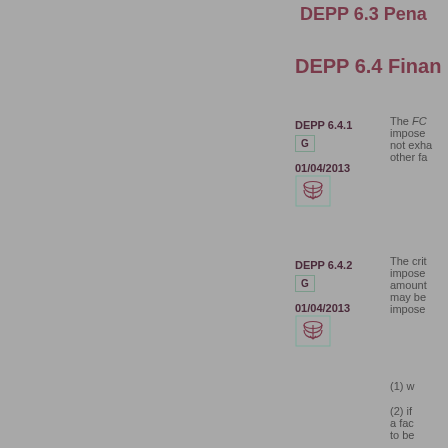DEPP 6.3 Pena...
DEPP 6.4 Finan...
DEPP 6.4.1
G
01/04/2013
[Figure (other): Stack/layers icon in teal border]
The FC... impose... not exha... other fa...
DEPP 6.4.2
G
01/04/2013
[Figure (other): Stack/layers icon in teal border]
The crit... impose... amount... may be... impose...
(1) w...
(2) if... a fac... to be...